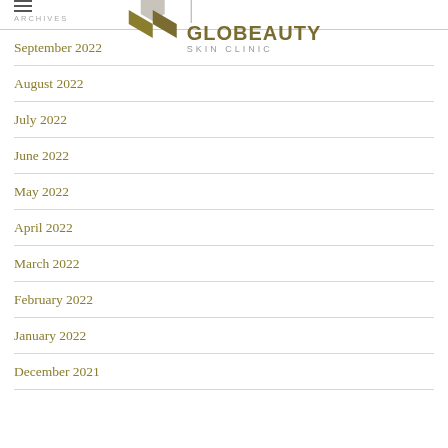ARCHIVES | GLOBEAUTY SKIN CLINIC
September 2022
August 2022
July 2022
June 2022
May 2022
April 2022
March 2022
February 2022
January 2022
December 2021